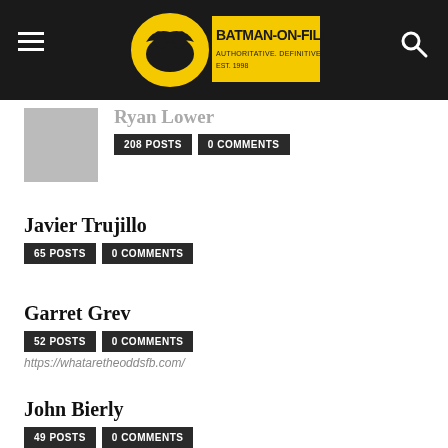BATMAN-ON-FILM.COM — AUTHORITATIVE. DEFINITIVE. THE ORIGINAL. EST. 1998
Ryan Lower — 208 POSTS · 0 COMMENTS
Javier Trujillo — 65 POSTS · 0 COMMENTS
Garret Grev — 52 POSTS · 0 COMMENTS — https://whataretheoddsfb.com/
John Bierly — 49 POSTS · 0 COMMENTS — http://www.johnbierly.com/
Ryan Hoss — 41 POSTS · 0 COMMENTS